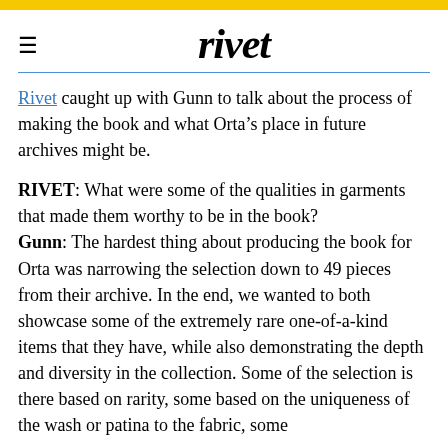rivet
Rivet caught up with Gunn to talk about the process of making the book and what Orta’s place in future archives might be.
RIVET: What were some of the qualities in garments that made them worthy to be in the book? Gunn: The hardest thing about producing the book for Orta was narrowing the selection down to 49 pieces from their archive. In the end, we wanted to both showcase some of the extremely rare one-of-a-kind items that they have, while also demonstrating the depth and diversity in the collection. Some of the selection is there based on rarity, some based on the uniqueness of the wash or patina to the fabric, some